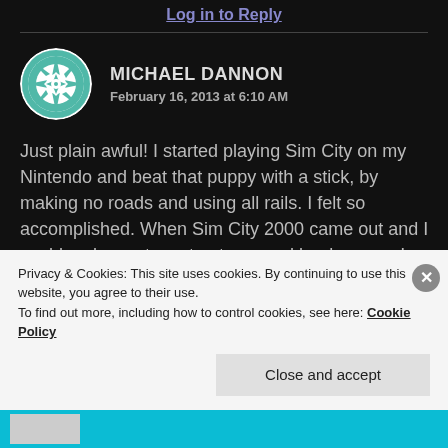Log in to Reply
[Figure (illustration): Circular avatar with teal geometric quilt/star pattern on white background]
MICHAEL DANNON
February 16, 2013 at 6:10 AM
Just plain awful! I started playing Sim City on my Nintendo and beat that puppy with a stick, by making no roads and using all rails. I felt so accomplished. When Sim City 2000 came out and I could make custom structures and landscapes, I was deeply engrossed in creation mode and simply filling
Privacy & Cookies: This site uses cookies. By continuing to use this website, you agree to their use.
To find out more, including how to control cookies, see here: Cookie Policy
Close and accept